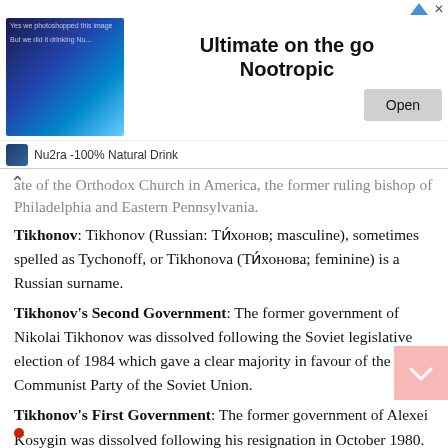[Figure (screenshot): Advertisement banner for 'Ultimate on the go Nootropic' by Nu2ra - 100% Natural Drink, with an Open button and a dark blue/cyan styled image.]
ate of the Orthodox Church in America, the former ruling bishop of Philadelphia and Eastern Pennsylvania.
Tikhonov: Tikhonov (Russian: Ти́хонов; masculine), sometimes spelled as Tychonoff, or Tikhonova (Ти́хонова; feminine) is a Russian surname.
Tikhonov's Second Government: The former government of Nikolai Tikhonov was dissolved following the Soviet legislative election of 1984 which gave a clear majority in favour of the Communist Party of the Soviet Union.
Tikhonov's First Government: The former government of Alexei Kosygin was dissolved following his resignation in October 1980. Nikolai Tikhonov took over the office of the Premier.